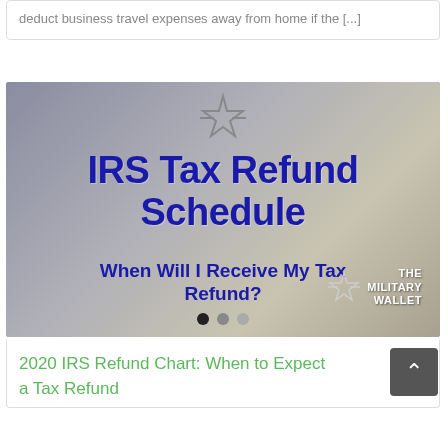deduct business travel expenses away from home if the [...]
[Figure (infographic): IRS Tax Refund Schedule banner image with bold blue text reading 'IRS Tax Refund Schedule' and subtitle 'When Will I Receive My Tax Refund?' with Military Wallet branding and star logo. Three navigation dots at the bottom.]
2020 IRS Refund Chart: When to Expect a Tax Refund